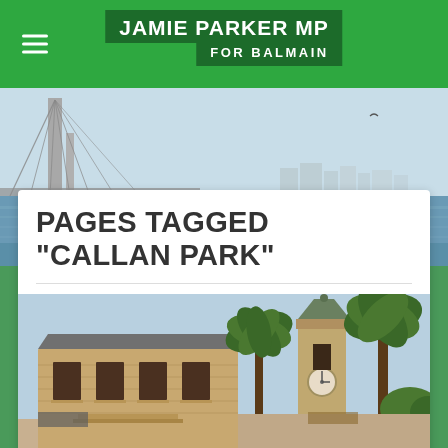JAMIE PARKER MP FOR BALMAIN
[Figure (photo): Background photo of Sydney Harbour Bridge and water]
PAGES TAGGED "CALLAN PARK"
[Figure (photo): Photo of Callan Park heritage sandstone building with bell tower and palm trees]